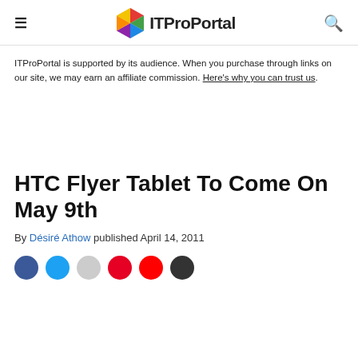ITProPortal
ITProPortal is supported by its audience. When you purchase through links on our site, we may earn an affiliate commission. Here’s why you can trust us.
HTC Flyer Tablet To Come On May 9th
By Désiré Athow published April 14, 2011